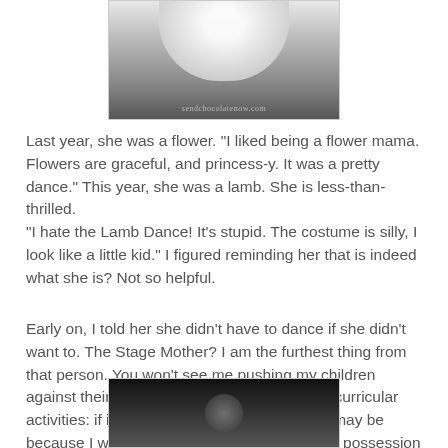[Figure (photo): Black and white photo of a child in a white tutu/dress costume, with watermark 'sendchocolatenow.com' at the bottom]
Last year, she was a flower. "I liked being a flower mama. Flowers are graceful, and princess-y. It was a pretty dance." This year, she was a lamb. She is less-than-thrilled. "I hate the Lamb Dance! It's stupid. The costume is silly, I look like a little kid." I figured reminding her that is indeed what she is? Not so helpful.
Early on, I told her she didn't have to dance if she didn't want to. The Stage Mother? I am the furthest thing from that person. You won't see me pushing my children against their will. I have a theory about extra-curricular activities: if it isn't fun, what's the point? This may be because I was, if not born with two left feet, in possession of them now. Dancing well is hard for me, and I don't have autism. Still, if I were to try to dance, with actual choreography, you would think I was having a seizure of some sort.
[Figure (photo): Black and white photo, dark background with a circular shape visible at center, partially cropped at page bottom]